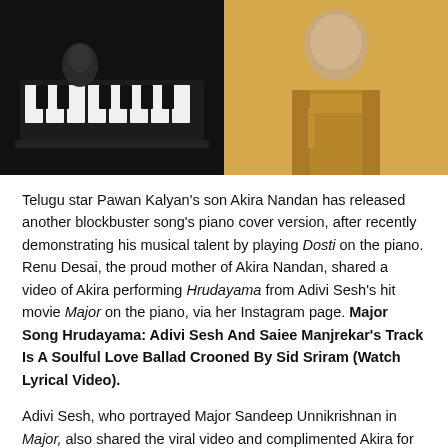[Figure (photo): Two side-by-side photos: left shows a person at a dark piano in black and white; right shows a young man in a tan/khaki shirt against a light background.]
Telugu star Pawan Kalyan's son Akira Nandan has released another blockbuster song's piano cover version, after recently demonstrating his musical talent by playing Dosti on the piano. Renu Desai, the proud mother of Akira Nandan, shared a video of Akira performing Hrudayama from Adivi Sesh's hit movie Major on the piano, via her Instagram page. Major Song Hrudayama: Adivi Sesh And Saiee Manjrekar's Track Is A Soulful Love Ballad Crooned By Sid Sriram (Watch Lyrical Video).
Adivi Sesh, who portrayed Major Sandeep Unnikrishnan in Major, also shared the viral video and complimented Akira for his outstanding performance. "Thank you dear #Akira for sending me this. Heart is full. Love you.. @SricharanPakala Check out Akira's beautiful cover rendition of